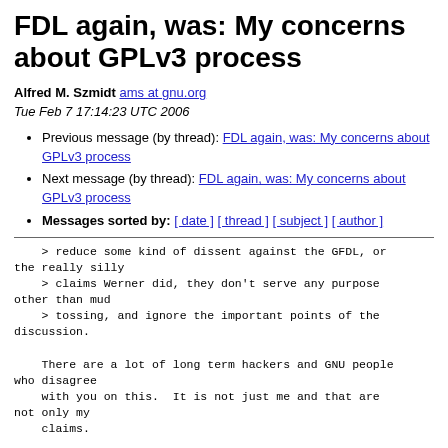FDL again, was: My concerns about GPLv3 process
Alfred M. Szmidt ams at gnu.org
Tue Feb 7 17:14:23 UTC 2006
Previous message (by thread): FDL again, was: My concerns about GPLv3 process
Next message (by thread): FDL again, was: My concerns about GPLv3 process
Messages sorted by: [ date ] [ thread ] [ subject ] [ author ]
> reduce some kind of dissent against the GFDL, or the really silly
    > claims Werner did, they don't serve any purpose other than mud
    > tossing, and ignore the important points of the discussion.

    There are a lot of long term hackers and GNU people who disagree
    with you on this.  It is not just me and that are not only my
    claims.